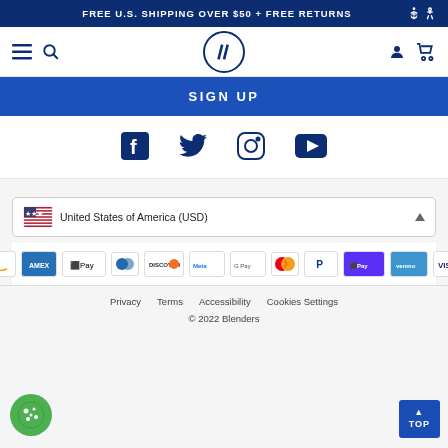FREE U.S. SHIPPING OVER $50 + FREE RETURNS
[Figure (logo): Blenders Eyewear logo — circle with double slash //]
SIGN UP
[Figure (infographic): Social media icons: Facebook, Twitter, Instagram, YouTube]
United States of America (USD)
[Figure (infographic): Payment method icons: Amazon, Amex, Apple Pay, Diners Club, Discover, Meta Pay, Google Pay, Mastercard, PayPal, ShopPay, Venmo, Visa]
Privacy   Terms   Accessibility   Cookies Settings
© 2022 Blenders